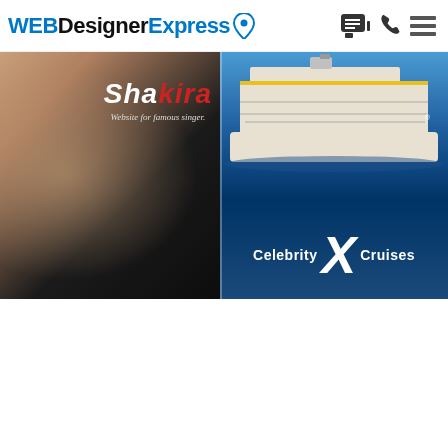WEBDesignerExpress
[Figure (screenshot): Shakira website screenshot showing a blonde woman and the Shakira logo with text 'Website for famous singer.']
[Figure (screenshot): Celebrity Cruises website screenshot showing a large cruise ship at sea and the Celebrity X Cruises logo]